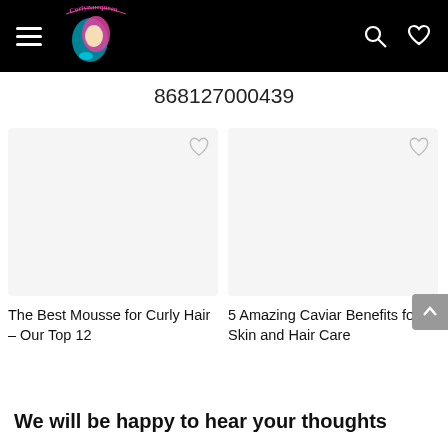Curlyhairqueen — navigation bar with hamburger menu, logo, search and heart icons
868127000439
[Figure (other): Empty card image placeholder with heart/wishlist icon — first card (The Best Mousse for Curly Hair)]
[Figure (other): Empty card image placeholder with heart/wishlist icon — second card (5 Amazing Caviar Benefits for Skin and Hair Care)]
The Best Mousse for Curly Hair – Our Top 12
5 Amazing Caviar Benefits for Skin and Hair Care
We will be happy to hear your thoughts